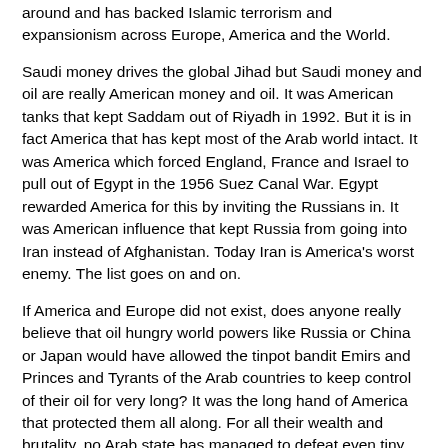around and has backed Islamic terrorism and expansionism across Europe, America and the World.
Saudi money drives the global Jihad but Saudi money and oil are really American money and oil. It was American tanks that kept Saddam out of Riyadh in 1992. But it is in fact America that has kept most of the Arab world intact. It was America which forced England, France and Israel to pull out of Egypt in the 1956 Suez Canal War. Egypt rewarded America for this by inviting the Russians in. It was American influence that kept Russia from going into Iran instead of Afghanistan. Today Iran is America's worst enemy. The list goes on and on.
If America and Europe did not exist, does anyone really believe that oil hungry world powers like Russia or China or Japan would have allowed the tinpot bandit Emirs and Princes and Tyrants of the Arab countries to keep control of their oil for very long? It was the long hand of America that protected them all along. For all their wealth and brutality, no Arab state has managed to defeat even tiny Israel, how long would they have lasted against Russia or China?